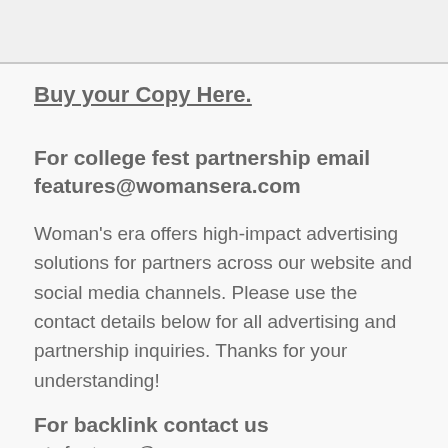Buy your Copy Here.
For college fest partnership email features@womansera.com
Woman's era offers high-impact advertising solutions for partners across our website and social media channels. Please use the contact details below for all advertising and partnership inquiries. Thanks for your understanding!
For backlink contact us at: features@womansera.com